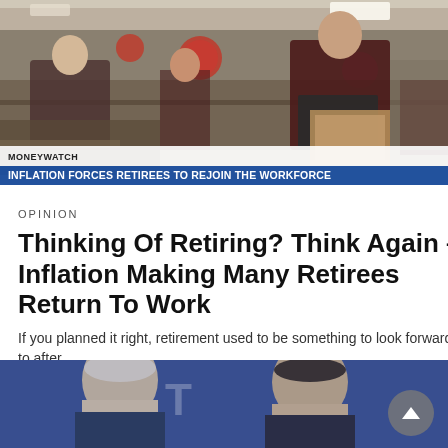[Figure (photo): News video screenshot showing elderly workers in a grocery store/warehouse retail environment with a Moneywatch ticker bar and blue headline bar reading 'INFLATION FORCES RETIREES TO REJOIN THE WORKFORCE']
OPINION
Thinking Of Retiring? Think Again – Inflation Making Many Retirees Return To Work
If you planned it right, retirement used to be something to look forward to after…
3 days ago
[Figure (photo): Photo of two older men at what appears to be a conference or event, with a blue background and partial text/logo visible]